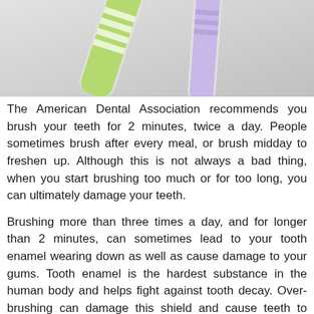[Figure (photo): Two toothbrushes (green and purple/lavender) photographed close-up against a light gray background, handles visible and bristle ends cut off at top of image.]
The American Dental Association recommends you brush your teeth for 2 minutes, twice a day. People sometimes brush after every meal, or brush midday to freshen up. Although this is not always a bad thing, when you start brushing too much or for too long, you can ultimately damage your teeth.
Brushing more than three times a day, and for longer than 2 minutes, can sometimes lead to your tooth enamel wearing down as well as cause damage to your gums. Tooth enamel is the hardest substance in the human body and helps fight against tooth decay. Over-brushing can damage this shield and cause teeth to become sensitive and prone to cavities.
Practicing proper oral hygiene care at home is an important part of your overall oral health. However, being aware of how much is too much is equally